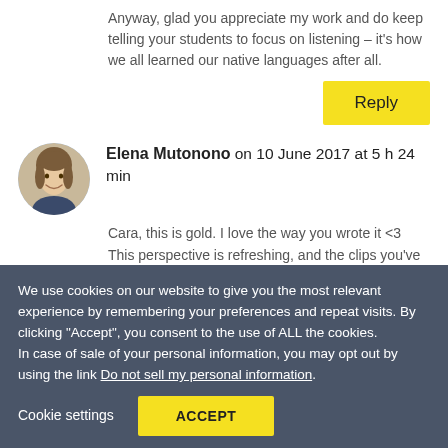Anyway, glad you appreciate my work and do keep telling your students to focus on listening – it's how we all learned our native languages after all.
Reply
Elena Mutonono on 10 June 2017 at 5 h 24 min
Cara, this is gold. I love the way you wrote it <3 This perspective is refreshing, and the clips you've chosen for illustration provide plenty of exercise!
We use cookies on our website to give you the most relevant experience by remembering your preferences and repeat visits. By clicking “Accept”, you consent to the use of ALL the cookies.
In case of sale of your personal information, you may opt out by using the link Do not sell my personal information.
Cookie settings
ACCEPT